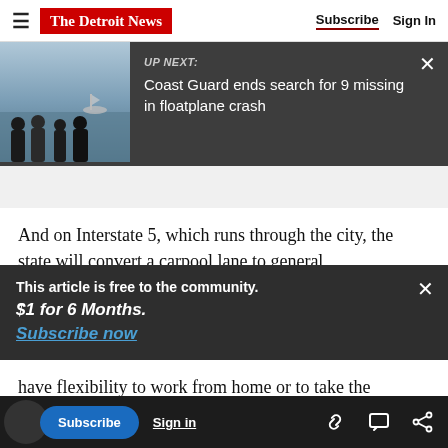The Detroit News | Subscribe | Sign In
[Figure (screenshot): UP NEXT banner with photo of silhouettes watching water with a boat, headline: Coast Guard ends search for 9 missing in floatplane crash]
And on Interstate 5, which runs through the city, the state will convert a carpool lane to general
This article is free to the community. $1 for 6 Months. Subscribe now
have flexibility to work from home or to take the
choices are going to make a difference for other